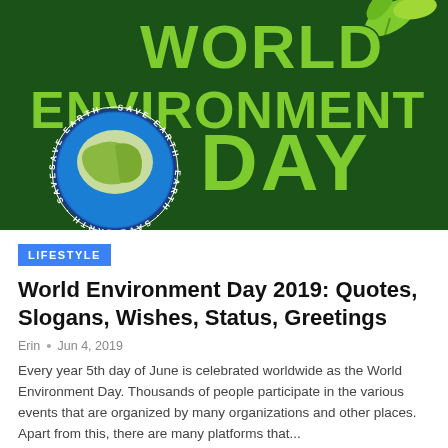[Figure (illustration): World Environment Day logo with large green 3D text reading WORLD ENVIRONMENT DAY on dark green background, with a globe showing Earth surrounded by a circular badge reading SAVE EARTH, and green leaves in the top right]
LIFESTYLE
World Environment Day 2019: Quotes, Slogans, Wishes, Status, Greetings
Erin • Jun 4, 2019
Every year 5th day of June is celebrated worldwide as the World Environment Day. Thousands of people participate in the various events that are organized by many organizations and other places. Apart from this, there are many platforms that...
READ MORE...